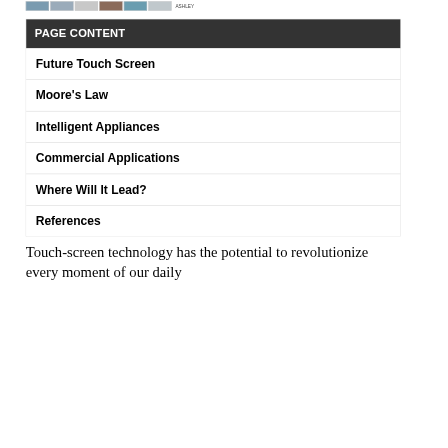[Figure (photo): Row of thumbnail images (photos) at the top of the page, followed by a small label 'ASHLEY']
| PAGE CONTENT |
| --- |
| Future Touch Screen |
| Moore's Law |
| Intelligent Appliances |
| Commercial Applications |
| Where Will It Lead? |
| References |
Touch-screen technology has the potential to revolutionize every moment of our daily